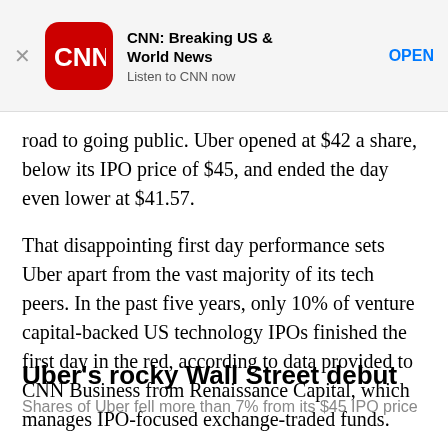[Figure (screenshot): CNN app banner ad with CNN red rounded logo, bold title 'CNN: Breaking US & World News', subtitle 'Listen to CNN now', and blue OPEN button]
road to going public. Uber opened at $42 a share, below its IPO price of $45, and ended the day even lower at $41.57.
That disappointing first day performance sets Uber apart from the vast majority of its tech peers. In the past five years, only 10% of venture capital-backed US technology IPOs finished the first day in the red, according to data provided to CNN Business from Renaissance Capital, which manages IPO-focused exchange-traded funds.
Uber's rocky Wall Street debut
Shares of Uber fell more than 7% from its $45 IPO price